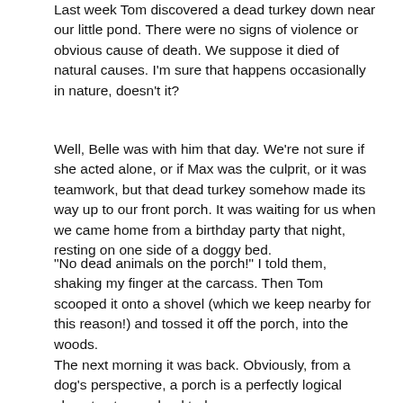Last week Tom discovered a dead turkey down near our little pond. There were no signs of violence or obvious cause of death. We suppose it died of natural causes. I'm sure that happens occasionally in nature, doesn't it?
Well, Belle was with him that day. We're not sure if she acted alone, or if Max was the culprit, or it was teamwork, but that dead turkey somehow made its way up to our front porch. It was waiting for us when we came home from a birthday party that night, resting on one side of a doggy bed.
"No dead animals on the porch!" I told them, shaking my finger at the carcass. Then Tom scooped it onto a shovel (which we keep nearby for this reason!) and tossed it off the porch, into the woods.
The next morning it was back. Obviously, from a dog's perspective, a porch is a perfectly logical place to store a dead turkey.
But I don't share that view, and I'm the boss. We didn't have time to dispose of it again until that evening